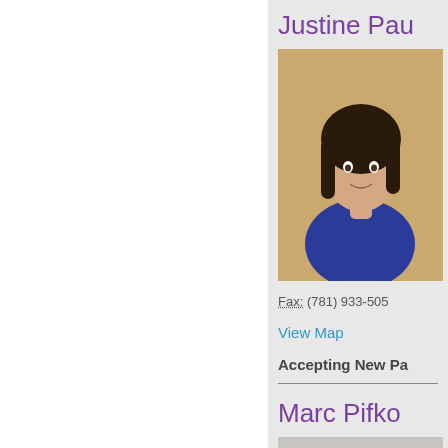Justine Pau
[Figure (photo): Headshot of Justine Pau, a young woman with dark hair wearing a blue top, photographed against a warm beige background]
Fax: (781) 933-505
View Map
Accepting New Pa
Marc Pifko
[Figure (photo): Headshot of Marc Pifko, a middle-aged man with glasses and thinning hair, photographed against a light gray background]